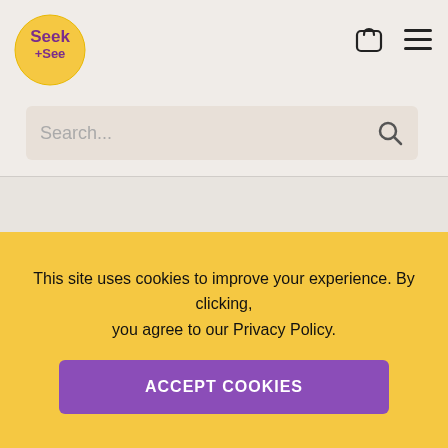[Figure (logo): Seek+See circular logo with yellow background and purple text]
[Figure (illustration): Shopping bag icon and hamburger menu icon in the top right navigation]
Search...
master_device_id
This site uses cookies to improve your experience. By clicking, you agree to our Privacy Policy.
ACCEPT COOKIES